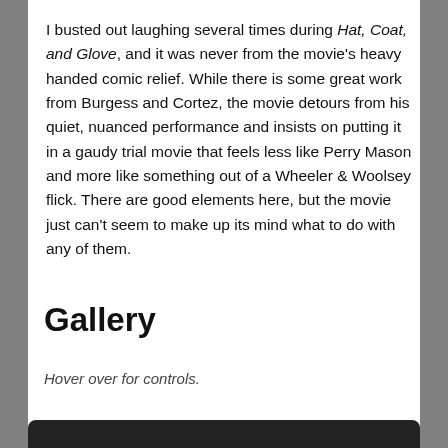I busted out laughing several times during Hat, Coat, and Glove, and it was never from the movie's heavy handed comic relief. While there is some great work from Burgess and Cortez, the movie detours from his quiet, nuanced performance and insists on putting it in a gaudy trial movie that feels less like Perry Mason and more like something out of a Wheeler & Woolsey flick. There are good elements here, but the movie just can't seem to make up its mind what to do with any of them.
Gallery
Hover over for controls.